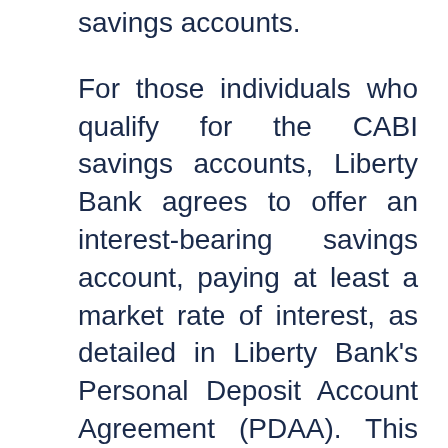savings accounts.
For those individuals who qualify for the CABI savings accounts, Liberty Bank agrees to offer an interest-bearing savings account, paying at least a market rate of interest, as detailed in Liberty Bank's Personal Deposit Account Agreement (PDAA). This account will be free from service charges or any other charges for all individuals that CRT accepts as a CABI participant.
CRT will help to monitor CABI program participants' monthly savings activity in an effort to help them reach their savings goals and ultimately become successful